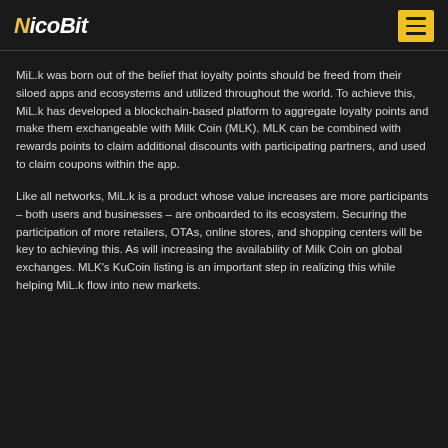NicoBit
MiL.k was born out of the belief that loyalty points should be freed from their siloed apps and ecosystems and utilized throughout the world. To achieve this, MiL.k has developed a blockchain-based platform to aggregate loyalty points and make them exchangeable with Milk Coin (MLK). MLK can be combined with rewards points to claim additional discounts with participating partners, and used to claim coupons within the app.
Like all networks, MiL.k is a product whose value increases are more participants – both users and businesses – are onboarded to its ecosystem. Securing the participation of more retailers, OTAs, online stores, and shopping centers will be key to achieving this. As will increasing the availability of Milk Coin on global exchanges. MLK's KuCoin listing is an important step in realizing this while helping MiL.k flow into new markets.